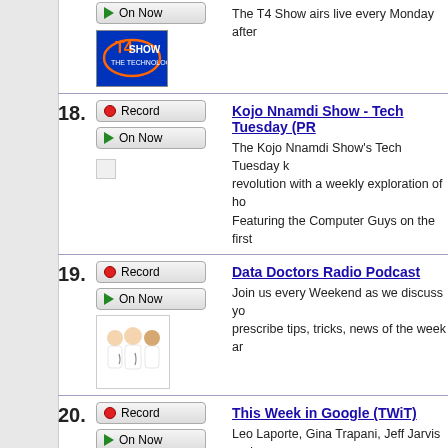On Now button. The T4 Show airs live every Monday after...
[Figure (photo): T4 Show logo on blue background]
18. Record | Kojo Nnamdi Show - Tech Tuesday (PR... The Kojo Nnamdi Show's Tech Tuesday k... revolution with a weekly exploration of ho... Featuring the Computer Guys on the first...
19. Record | Data Doctors Radio Podcast. Join us every Weekend as we discuss yo... prescribe tips, tricks, news of the week ar...
20. Record | This Week in Google (TWiT). Leo Laporte, Gina Trapani, Jeff Jarvis and... and cloud computing news.